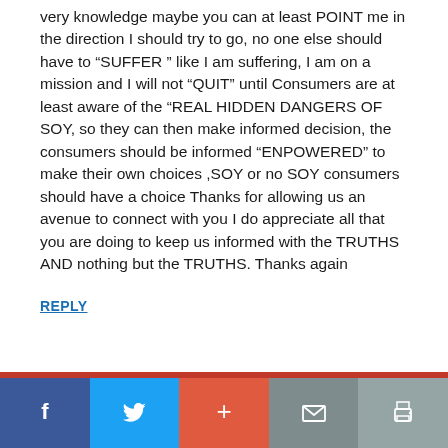very knowledge maybe you can at least POINT me in the direction I should try to go, no one else should have to “SUFFER ” like I am suffering, I am on a mission and I will not “QUIT” until Consumers are at least aware of the “REAL HIDDEN DANGERS OF SOY, so they can then make informed decision, the consumers should be informed “ENPOWERED” to make their own choices ,SOY or no SOY consumers should have a choice Thanks for allowing us an avenue to connect with you I do appreciate all that you are doing to keep us informed with the TRUTHS AND nothing but the TRUTHS. Thanks again
REPLY